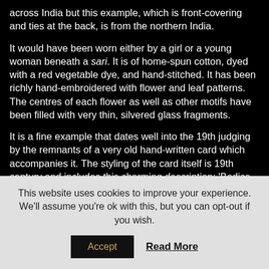across India but this example, which is front-covering and ties at the back, is from the northern India.
It would have been worn either by a girl or a young woman beneath a sari. It is of home-spun cotton, dyed with a red vegetable dye, and hand-stitched. It has been richly hand-embroidered with flower and leaf patterns. The centres of each flower as well as other motifs have been filled with very thin, silvered glass fragments.
It is a fine example that dates well into the 19th judging by the remnants of a very old hand-written card which accompanies it. The styling of the card itself is 19th century and includes this charming description: 'Bodice – Hindoo – Red, Embroidered with Looking Glass'. (See below.)
This website uses cookies to improve your experience. We'll assume you're ok with this, but you can opt-out if you wish.
Accept
Read More